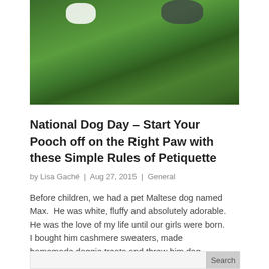[Figure (photo): A close-up photo of a dog (mostly white and dark fur visible) in green grass]
National Dog Day – Start Your Pooch off on the Right Paw with these Simple Rules of Petiquette
by Lisa Gaché | Aug 27, 2015 | General
Before children, we had a pet Maltese dog named Max.  He was white, fluffy and absolutely adorable. He was the love of my life until our girls were born. I bought him cashmere sweaters, made homemade doggie treats and threw him dog birthday parties in...